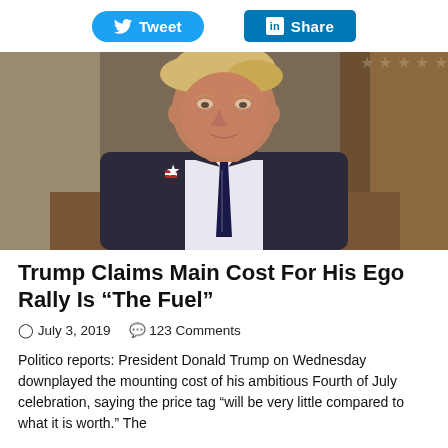[Figure (screenshot): Tweet and LinkedIn Share buttons at top of page]
[Figure (photo): Photo of President Donald Trump in a dark suit and striped tie, seated at a table in what appears to be the White House Cabinet Room]
Trump Claims Main Cost For His Ego Rally Is "The Fuel"
July 3, 2019   123 Comments
Politico reports: President Donald Trump on Wednesday downplayed the mounting cost of his ambitious Fourth of July celebration, saying the price tag "will be very little compared to what it is worth." The